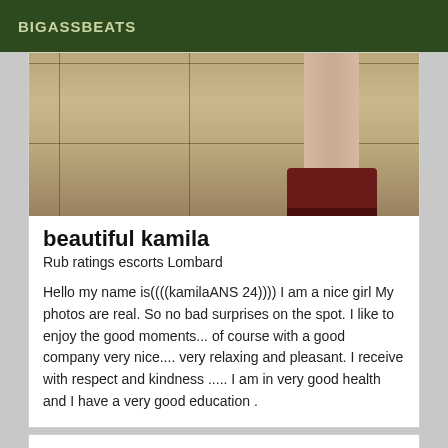BIGASSBEATS
[Figure (photo): Photo showing a person's leg wearing a red high-heeled shoe standing on beige ceramic floor tiles]
beautiful kamila
Rub ratings escorts Lombard
Hello my name is((((kamilaANS 24)))) I am a nice girl My photos are real. So no bad surprises on the spot. I like to enjoy the good moments... of course with a good company very nice.... very relaxing and pleasant. I receive with respect and kindness ..... I am in very good health and I have a very good education .